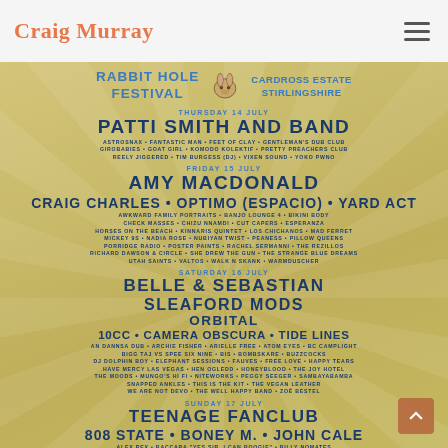Craig Murray
[Figure (infographic): Rabbit Hole Festival poster showing lineup for July 2022 at Cardross Estate, Stirlingshire. Thursday 14 July headlined by Patti Smith and Band. Friday 15 July headlined by Amy Macdonald, Craig Charles, Optimo (Espacio), Yard Act. Saturday 16 July headlined by Belle & Sebastian, Sleaford Mods, Orbital. Sunday 17 July headlined by Teenage Fanclub, 808 State, Boney M., John Cale.]